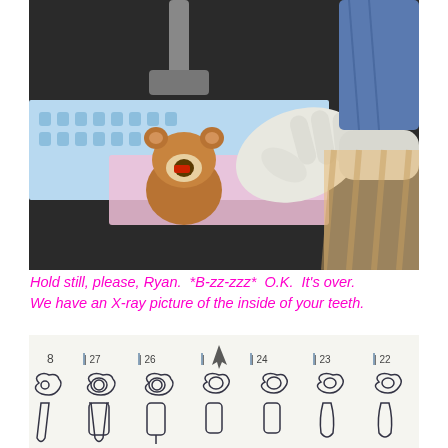[Figure (photo): A mannequin hand holding a dental X-ray sensor on a teddy bear's mouth on a patterned dental bib, with clinical equipment in the background. The scene simulates a pediatric dental X-ray procedure.]
Hold still, please, Ryan.  *B-zz-zzz*  O.K.  It's over.  We have an X-ray picture of the inside of your teeth.
[Figure (photo): Close-up of a dental chart/poster showing numbered teeth illustrations (tooth numbers 22-27 visible) with crown and root diagrams drawn in a cartoonish style on white paper.]